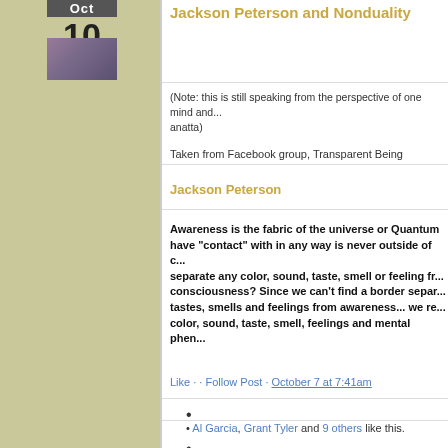Jackson Peterson and Nonduality
(Note: this is still speaking from the perspective of one mind and... anatta)
Taken from Facebook group, Transparent Being
Jackson Peterson
Awareness is the fabric of the universe or Quantum... have "contact" with in any way is never outside of c... separate any color, sound, taste, smell or feeling fr... consciousness? Since we can't find a border separ... tastes, smells and feelings from awareness... we re... color, sound, taste, smell, feelings and mental phen...
Like · · Follow Post · October 7 at 7:41am
Al Garcia, Grant Tyler and 9 others like this.
Ted Thompson Color, sound, etc are occurances within A... sensations or can be free of them. Awareness is self-exis...